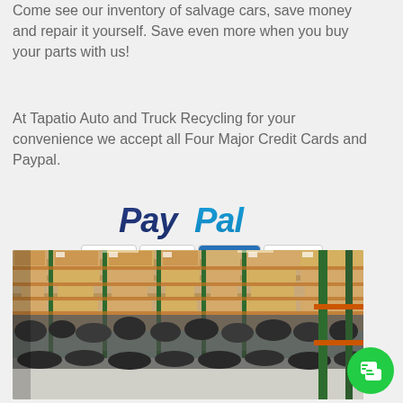Come see our inventory of salvage cars, save money and repair it yourself. Save even more when you buy your parts with us!
At Tapatio Auto and Truck Recycling for your convenience we accept all Four Major Credit Cards and Paypal.
[Figure (logo): PayPal logo in blue italic bold text, followed by a row of credit card logos: MasterCard (red/yellow circles), Visa (blue), American Express (blue), Discover (orange/white)]
[Figure (photo): Interior of an auto parts warehouse showing large metal shelving racks with cardboard boxes on upper shelves and salvage auto parts (engines, transmissions, etc.) on lower shelves. Green and orange steel supports visible.]